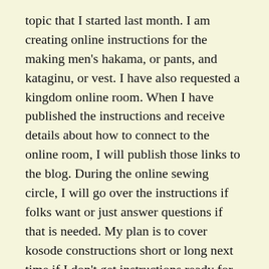topic that I started last month. I am creating online instructions for the making men's hakama, or pants, and kataginu, or vest. I have also requested a kingdom online room. When I have published the instructions and receive details about how to connect to the online room, I will publish those links to the blog. During the online sewing circle, I will go over the instructions if folks want or just answer questions if that is needed. My plan is to cover kosode constructions short or long next time if I don't get instructions ready for that this time. If you have questions, you can email sewing at debatablelands dot org, or you can find my email address in the dark pages if you look up Hara Kikumatsu.